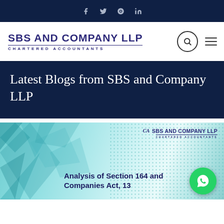f  𝕏  ⊕  in (social media icons)
[Figure (logo): SBS AND COMPANY LLP Chartered Accountants logo with search and menu icons]
Latest Blogs from SBS and Company LLP
[Figure (illustration): Blog thumbnail image with geometric teal triangles and dot pattern background, SBS AND COMPANY LLP Chartered Accountants logo top right, text: Analysis of Section 164 and of Companies Act, 13, and a WhatsApp chat button]